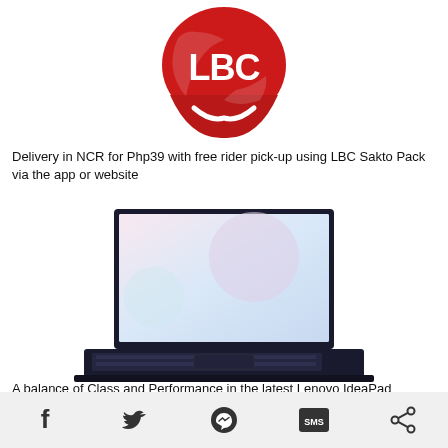[Figure (logo): LBC Express red logo with white LBC text and circular swoosh design]
Delivery in NCR for Php39 with free rider pick-up using LBC Sakto Pack via the app or website
[Figure (photo): Lenovo IdeaPad laptop open showing keyboard and display with soft colorful background on screen]
A balance of Class and Performance in the latest Lenovo IdeaPad Devices
Social share icons: Facebook, Twitter, Messenger, SMS, Share